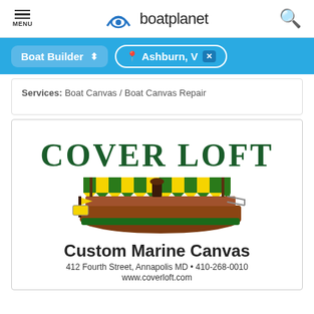MENU | boatplanet | search
Boat Builder | Ashburn, VA ×
Services: Boat Canvas / Boat Canvas Repair
[Figure (logo): Cover Loft logo with illustrated boat under yellow and green striped awning. Text reads: COVER LOFT, Custom Marine Canvas, 412 Fourth Street, Annapolis MD • 410-268-0010, www.coverloft.com]